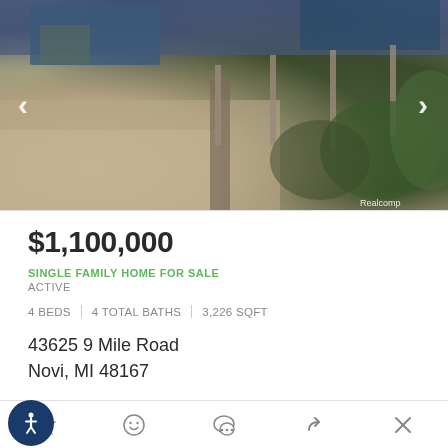[Figure (photo): Exterior photo of a residential property showing a driveway, stone retaining wall with wooden fence posts, landscaping, and a blue house in the background. Navigation arrows visible on left and right sides. Realcomp watermark in bottom right.]
$1,100,000
SINGLE FAMILY HOME FOR SALE
ACTIVE
4 BEDS | 4 TOTAL BATHS | 3,226 SQFT
43625 9 Mile Road
Novi, MI 48167